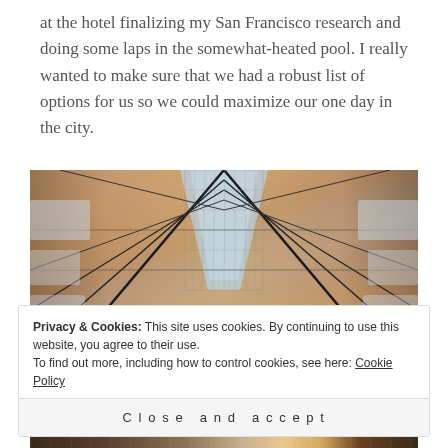at the hotel finalizing my San Francisco research and doing some laps in the somewhat-heated pool. I really wanted to make sure that we had a robust list of options for us so we could maximize our one day in the city.
[Figure (photo): Interior architectural photo looking up at a large glass skylight ceiling with wooden panels and black metal structural beams in what appears to be a historic market hall or train station.]
Privacy & Cookies: This site uses cookies. By continuing to use this website, you agree to their use.
To find out more, including how to control cookies, see here: Cookie Policy
Close and accept
[Figure (photo): Bottom strip showing interior of a market or shopping hall with stalls visible.]